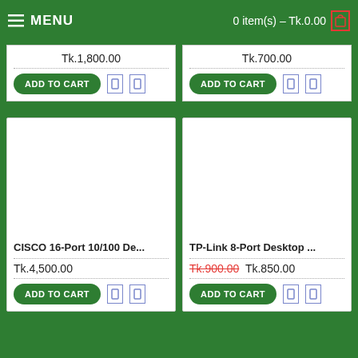MENU | 0 item(s) – Tk.0.00
Tk.1,800.00
Tk.700.00
CISCO 16-Port 10/100 De...
Tk.4,500.00
TP-Link 8-Port Desktop ...
Tk.900.00  Tk.850.00